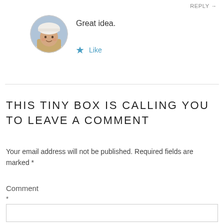REPLY →
[Figure (photo): Circular avatar photo of a person wearing a white hat, outdoors in winter setting]
Great idea.
★ Like
THIS TINY BOX IS CALLING YOU TO LEAVE A COMMENT
Your email address will not be published. Required fields are marked *
Comment *
(comment input box)